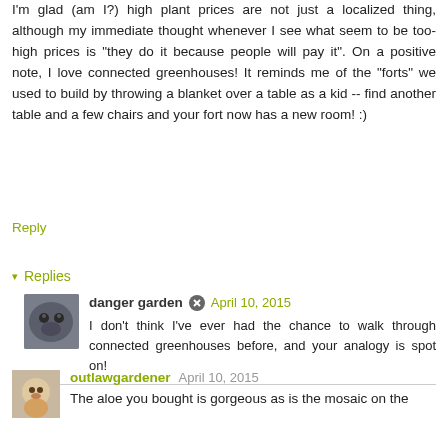I'm glad (am I?) high plant prices are not just a localized thing, although my immediate thought whenever I see what seem to be too-high prices is "they do it because people will pay it". On a positive note, I love connected greenhouses! It reminds me of the "forts" we used to build by throwing a blanket over a table as a kid -- find another table and a few chairs and your fort now has a new room! :)
Reply
Replies
danger garden  April 10, 2015
I don't think I've ever had the chance to walk through connected greenhouses before, and your analogy is spot on!
Reply
outlawgardener  April 10, 2015
The aloe you bought is gorgeous as is the mosaic on the